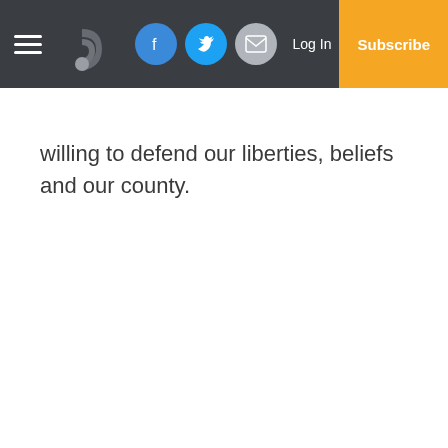Navigation header with hamburger menu, logo, Facebook, Twitter, Email social buttons, Log In link, and Subscribe button
willing to defend our liberties, beliefs and our county.